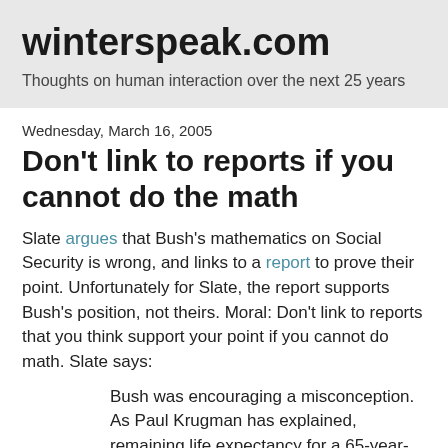winterspeak.com
Thoughts on human interaction over the next 25 years
Wednesday, March 16, 2005
Don't link to reports if you cannot do the math
Slate argues that Bush's mathematics on Social Security is wrong, and links to a report to prove their point. Unfortunately for Slate, the report supports Bush's position, not theirs. Moral: Don't link to reports that you think support your point if you cannot do math. Slate says:
Bush was encouraging a misconception. As Paul Krugman has explained, remaining life expectancy for a 65-year-old black man is 14.6 years, not two. It's true that black male life expectancy at birth is only 69, but black men it